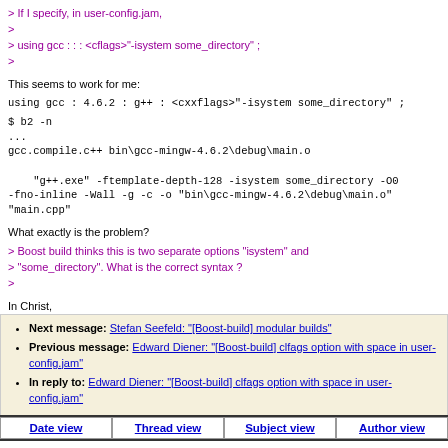> If I specify, in user-config.jam,
>
> using gcc : : : <cflags>"-isystem some_directory" ;
>
This seems to work for me:
using gcc : 4.6.2 : g++ : <cxxflags>"-isystem some_directory" ;
$ b2 -n
...
gcc.compile.c++ bin\gcc-mingw-4.6.2\debug\main.o

    "g++.exe" -ftemplate-depth-128 -isystem some_directory -O0
-fno-inline -Wall -g -c -o "bin\gcc-mingw-4.6.2\debug\main.o" "main.cpp"
What exactly is the problem?
> Boost build thinks this is two separate options "isystem" and
> "some_directory". What is the correct syntax ?
>
In Christ,
Steven Watanabe
Next message: Stefan Seefeld: "[Boost-build] modular builds"
Previous message: Edward Diener: "[Boost-build] clfags option with space in user-config.jam"
In reply to: Edward Diener: "[Boost-build] clfags option with space in user-config.jam"
Date view | Thread view | Subject view | Author view